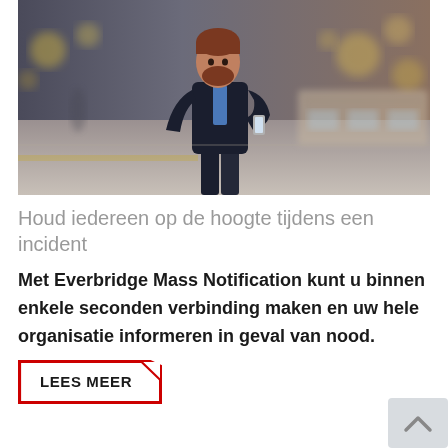[Figure (photo): A bearded businessman in a dark navy suit looking at his smartphone, standing on a train station platform with blurred background lights and trains.]
Houd iedereen op de hoogte tijdens een incident
Met Everbridge Mass Notification kunt u binnen enkele seconden verbinding maken en uw hele organisatie informeren in geval van nood.
LEES MEER